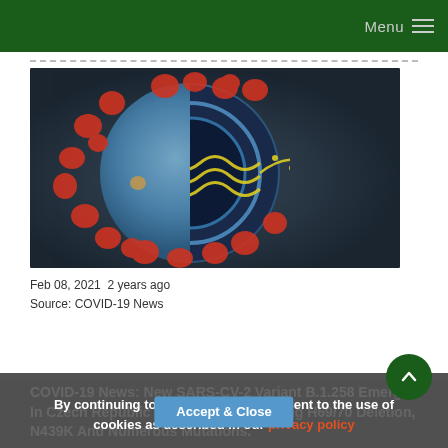Menu
[Figure (photo): 3D illustration of a coronavirus (SARS-CoV-2) particle cross-section showing spike proteins on the outside (red/orange), inner membrane layers (blue), RNA strand (yellow/green helix), and internal protein structure on a dark background.]
Feb 08, 2021  2 years ago
Source: COVID-19 News
COVID-19 News: New SARS-CV-2 Variant B.1.258 Emerges In Czech Republic And Slovakia Carrying H69/70 Deletion, N439K And Numerous Mutations.
By continuing to use our site you consent to the use of cookies as described in our privacy policy